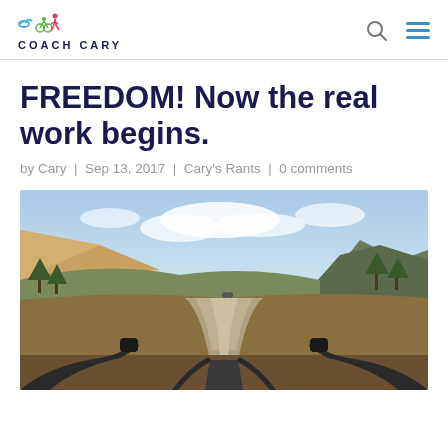COACH CARY
FREEDOM! Now the real work begins.
by Cary | Sep 13, 2017 | Cary's Rants | 0 comments
[Figure (photo): View from bicycle handlebars looking down a gravel path through a mountain valley with autumn foliage, mountains and clouds in the background.]